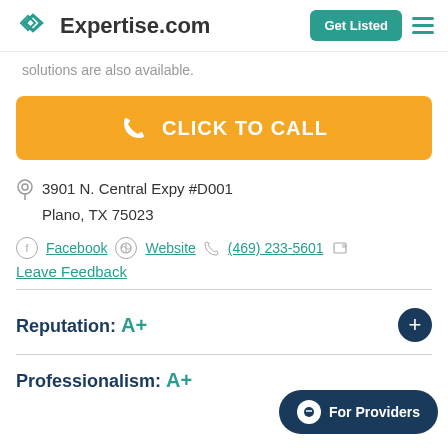Expertise.com | Get Listed
solutions are also available.
CLICK TO CALL
3901 N. Central Expy #D001
Plano, TX 75023
Facebook | Website | (469) 233-5601 | Leave Feedback
Reputation: A+
Professionalism: A+